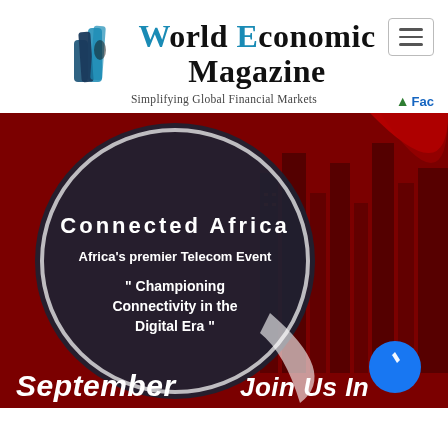[Figure (logo): World Economic Magazine logo with blue icon and serif text, tagline: Simplifying Global Financial Markets]
[Figure (photo): Connected Africa - Africa's premier Telecom Event promotional banner with dark circle overlay on red city skyline background. Text: 'Championing Connectivity in the Digital Era'. Bottom text: 'September' on left and 'Join Us In' on right. Blue Messenger chat bubble icon at bottom right.]